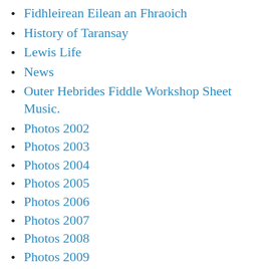Fidhleirean Eilean an Fhraoich
History of Taransay
Lewis Life
News
Outer Hebrides Fiddle Workshop Sheet Music.
Photos 2002
Photos 2003
Photos 2004
Photos 2005
Photos 2006
Photos 2007
Photos 2008
Photos 2009
Photos 2010
Photos 2011